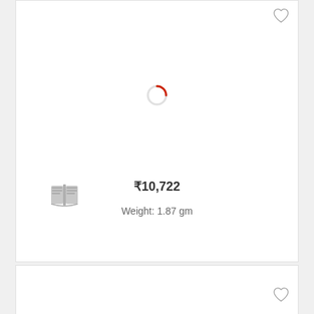[Figure (screenshot): Product card with loading spinner (red circular spinner), a book icon (gray), price ₹10,722 and weight 1.87 gm. A heart/wishlist icon is in the top right corner.]
₹10,722
Weight: 1.87 gm
[Figure (screenshot): Second product card (partially visible) with a heart/wishlist icon in the bottom right corner.]